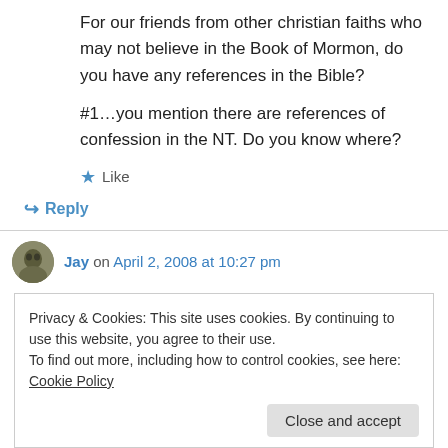For our friends from other christian faiths who may not believe in the Book of Mormon, do you have any references in the Bible?
#1…you mention there are references of confession in the NT. Do you know where?
★ Like
↳ Reply
Jay on April 2, 2008 at 10:27 pm
Privacy & Cookies: This site uses cookies. By continuing to use this website, you agree to their use.
To find out more, including how to control cookies, see here: Cookie Policy
Close and accept
ordinance. With that said, I think people go to the